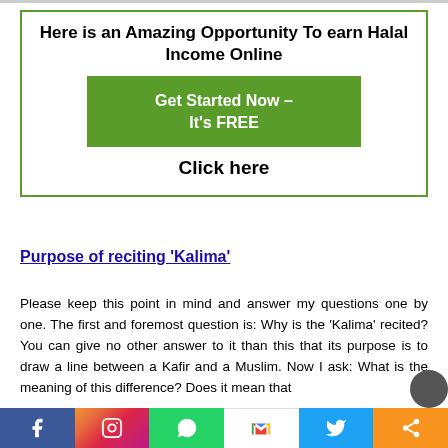[Figure (infographic): Advertisement box with green border. Title: 'Here is an Amazing Opportunity To earn Halal Income Online'. Green button: 'Get Started Now – It's FREE'. Bold text: 'Click here'.]
Purpose of reciting 'Kalima'
Please keep this point in mind and answer my questions one by one. The first and foremost question is: Why is the 'Kalima' recited? You can give no other answer to it than this that its purpose is to draw a line between a Kafir and a Muslim. Now I ask: What is the meaning of this difference? Does it mean that
[Figure (infographic): Social media share bar at bottom: Facebook (blue), Instagram (gradient), WhatsApp (green), Gmail (white), Twitter (blue), Share (orange). Icons for each platform.]